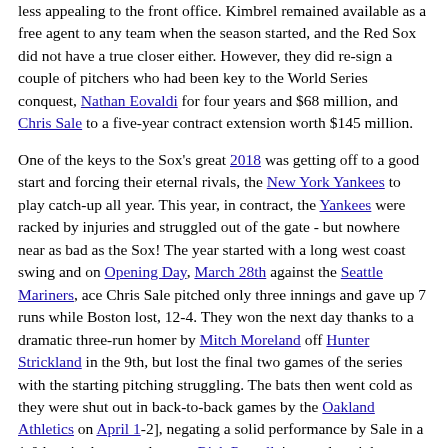less appealing to the front office. Kimbrel remained available as a free agent to any team when the season started, and the Red Sox did not have a true closer either. However, they did re-sign a couple of pitchers who had been key to the World Series conquest, Nathan Eovaldi for four years and $68 million, and Chris Sale to a five-year contract extension worth $145 million.
One of the keys to the Sox's great 2018 was getting off to a good start and forcing their eternal rivals, the New York Yankees to play catch-up all year. This year, in contract, the Yankees were racked by injuries and struggled out of the gate - but nowhere near as bad as the Sox! The year started with a long west coast swing and on Opening Day, March 28th against the Seattle Mariners, ace Chris Sale pitched only three innings and gave up 7 runs while Boston lost, 12-4. They won the next day thanks to a dramatic three-run homer by Mitch Moreland off Hunter Strickland in the 9th, but lost the final two games of the series with the starting pitching struggling. The bats then went cold as they were shut out in back-to-back games by the Oakland Athletics on April 1-2], negating a solid performance by Sale in a 1-0 loss in the second game. Rick Porcello' second straight terrible start on April 5th against the Arizona Diamondbacks resulted in a 15-8 loss, and the next day they lost their 8th game out of their first 10 as they gave up a game-winning hit in the 9th to go down, 5-4, to the D-Backs. They finished the road trip with a 1-0 win over Arizona on April 7th,